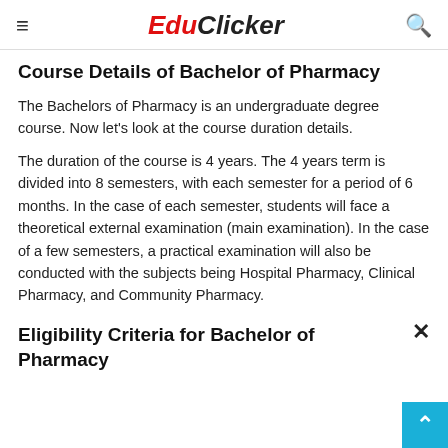EduClicker
Course Details of Bachelor of Pharmacy
The Bachelors of Pharmacy is an undergraduate degree course. Now let's look at the course duration details.
The duration of the course is 4 years. The 4 years term is divided into 8 semesters, with each semester for a period of 6 months. In the case of each semester, students will face a theoretical external examination (main examination). In the case of a few semesters, a practical examination will also be conducted with the subjects being Hospital Pharmacy, Clinical Pharmacy, and Community Pharmacy.
Eligibility Criteria for Bachelor of Pharmacy